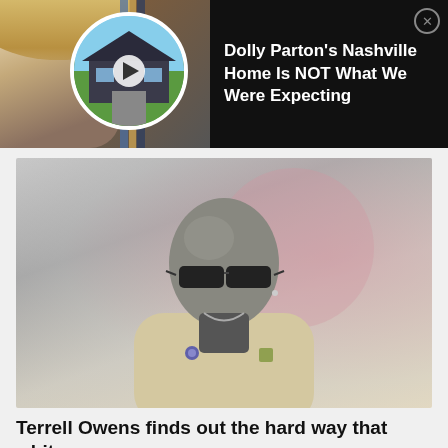[Figure (screenshot): Ad banner with Dolly Parton photo on left and house image in circle with play button, black background, text on right]
Dolly Parton's Nashville Home Is NOT What We Were Expecting
[Figure (photo): Man with bald head wearing sunglasses and a cream/tan blazer, looking upward, grayscale-toned photo]
Terrell Owens finds out the hard way that white